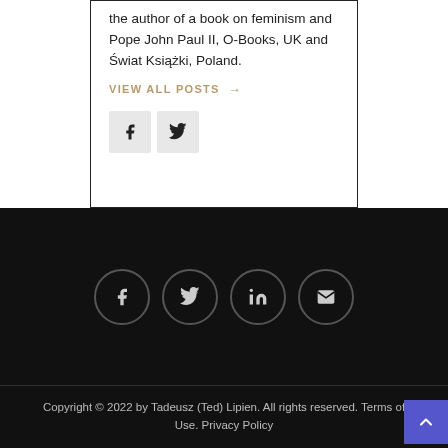the author of a book on feminism and Pope John Paul II, O-Books, UK and Świat Książki, Poland.
VIEW ALL POSTS →
[Figure (other): Facebook and Twitter share icon buttons]
[Figure (other): Footer social media icon circles: Facebook, Twitter, LinkedIn, Email]
Copyright © 2022 by Tadeusz (Ted) Lipien. All rights reserved. Terms of Use. Privacy Policy